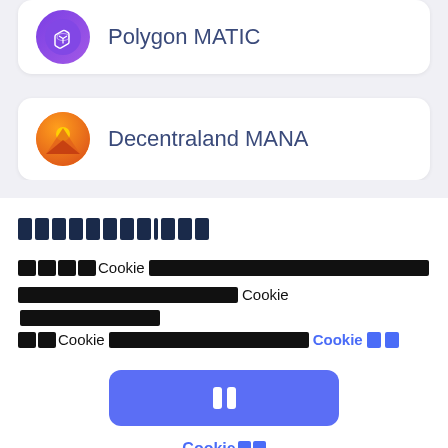Polygon MATIC
Decentraland MANA
[redacted]
[redacted] Cookie [redacted] Cookie [redacted] Cookie [redacted] Cookie [redacted]
[Figure (other): Blue button with pause icon (two vertical white bars)]
Cookie [redacted]